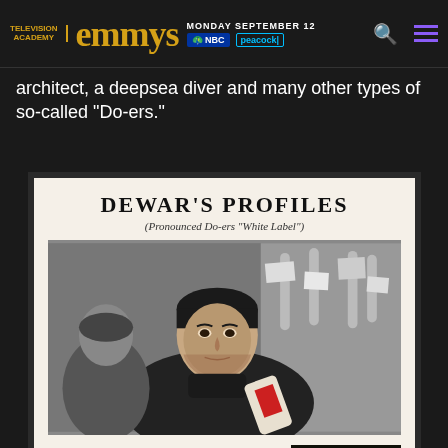Television Academy | emmys | MONDAY SEPTEMBER 12 | NBC | peacock
architect, a deepsea diver and many other types of so-called "Do-ers."
[Figure (photo): Dewar's Profiles vintage advertisement featuring a black and white photograph of Jerry Orbach in a dressing room, holding what appears to be a Dewar's White Label bottle. Below the photo: JERRY ORBACH, HOME: New York, New York, AGE: 38, PROFESSION: Actor. A small product bottle image appears bottom right.]
DEWAR'S PROFILES
(Pronounced Do-ers "White Label")
JERRY ORBACH
HOME: New York, New York
AGE: 38
PROFESSION: Actor